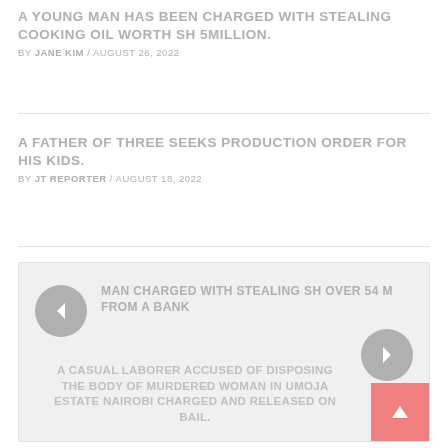A YOUNG MAN HAS BEEN CHARGED WITH STEALING COOKING OIL WORTH SH 5MILLION.
BY JANE KIM / AUGUST 26, 2022
A FATHER OF THREE SEEKS PRODUCTION ORDER FOR HIS KIDS.
BY JT REPORTER / AUGUST 18, 2022
[Figure (other): Navigation widget with previous and next article links. Previous: MAN CHARGED WITH STEALING SH OVER 54 M FROM A BANK. Next: A CASUAL LABORER ACCUSED OF DISPOSING THE BODY OF MURDERED WOMAN IN UMOJA ESTATE NAIROBI CHARGED AND RELEASED ON BAIL. Includes scroll-to-top button.]